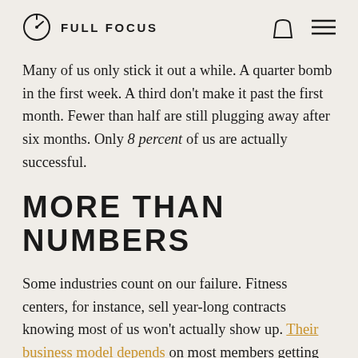FULL FOCUS
Many of us only stick it out a while. A quarter bomb in the first week. A third don't make it past the first month. Fewer than half are still plugging away after six months. Only 8 percent of us are actually successful.
MORE THAN NUMBERS
Some industries count on our failure. Fitness centers, for instance, sell year-long contracts knowing most of us won't actually show up. Their business model depends on most members getting distracted, overwhelmed, or